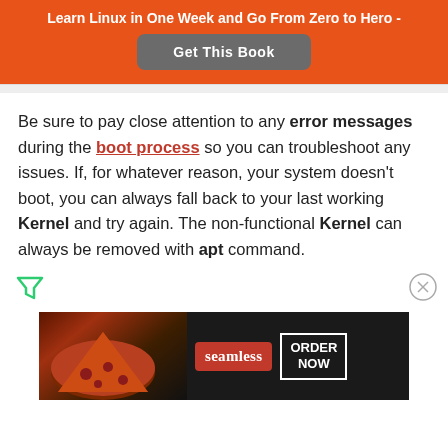Learn Linux in One Week and Go From Zero to Hero -
Get This Book
Be sure to pay close attention to any error messages during the boot process so you can troubleshoot any issues. If, for whatever reason, your system doesn't boot, you can always fall back to your last working Kernel and try again. The non-functional Kernel can always be removed with apt command.
[Figure (logo): Small filter/funnel icon on left side]
[Figure (logo): Close/X circle icon on right side]
[Figure (infographic): Seamless food delivery ad banner with pizza image, seamless logo in red, and ORDER NOW button]